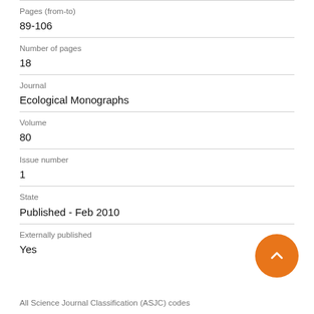Pages (from-to)
89-106
Number of pages
18
Journal
Ecological Monographs
Volume
80
Issue number
1
State
Published - Feb 2010
Externally published
Yes
All Science Journal Classification (ASJC) codes